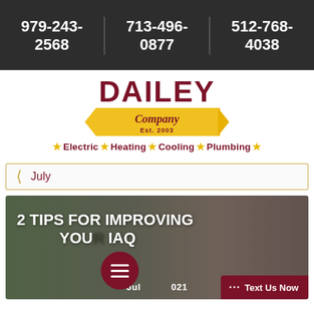979-243-2568 | 713-496-0877 | 512-768-4038
[Figure (logo): Dailey Company logo with red DAILEY text, gold banner reading 'Company Est. 2003', and tagline: Electric ★ Heating ★ Cooling ★ Plumbing]
★ Electric ★ Heating ★ Cooling ★ Plumbing ★
July
[Figure (photo): Blog post card with green/natural background, white bold text reading '2 TIPS FOR IMPROVING YOUR IAQ', date 'July 2021', hamburger menu button, and 'Text Us Now' button]